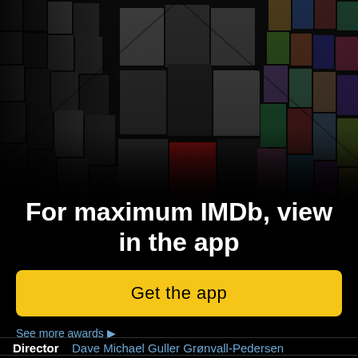[Figure (photo): Collage of celebrity photos and movie posters arranged in a 3D perspective wall on a black background, representing IMDb content]
For maximum IMDb, view in the app
Get the app
See more awards ▶
Director  Dave Michael Guller Grønvall-Pedersen
Writer  Helle Højland